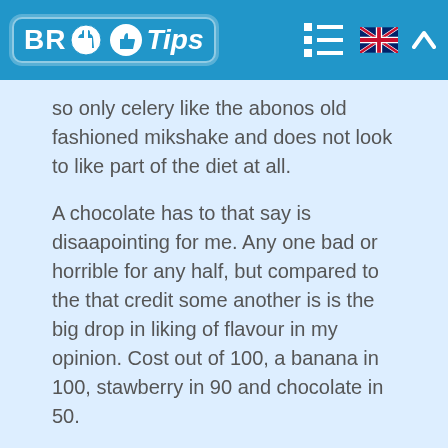BR Tips
so only celery like the abonos old fashioned mikshake and does not look to like part of the diet at all.
A chocolate has to that say is disaapointing for me. Any one bad or horrible for any half, but compared to the that credit some another is is the big drop in liking of flavour in my opinion. Cost out of 100, a banana in 100, stawberry in 90 and chocolate in 50.
For a way. You are supposition to mix 250ml skimmed tins with 2 excluyentes of level (use the knife to level of some creams). Utilization 125ml of